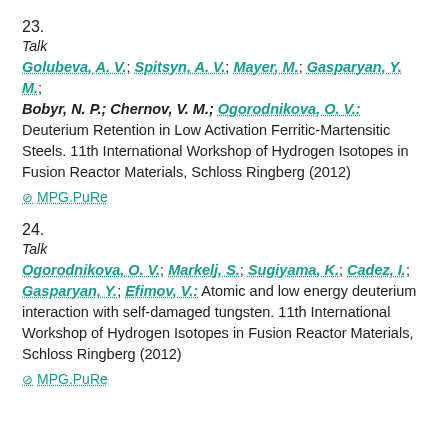23.
Talk
Golubeva, A. V.; Spitsyn, A. V.; Mayer, M.; Gasparyan, Y. M.; Bobyr, N. P.; Chernov, V. M.; Ogorodnikova, O. V.: Deuterium Retention in Low Activation Ferritic-Martensitic Steels. 11th International Workshop of Hydrogen Isotopes in Fusion Reactor Materials, Schloss Ringberg (2012)
⊘ MPG.PuRe
24.
Talk
Ogorodnikova, O. V.; Markelj, S.; Sugiyama, K.; Cadez, I.; Gasparyan, Y.; Efimov, V.: Atomic and low energy deuterium interaction with self-damaged tungsten. 11th International Workshop of Hydrogen Isotopes in Fusion Reactor Materials, Schloss Ringberg (2012)
⊘ MPG.PuRe